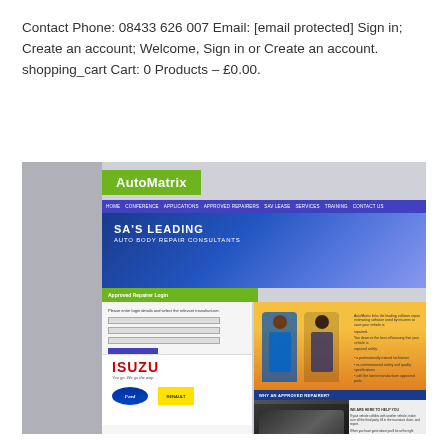Contact Phone: 08433 626 007 Email: [email protected] Sign in; Create an account; Welcome, Sign in or Create an account. shopping_cart Cart: 0 Products – £0.00.
[Figure (screenshot): Screenshot of the AutoMatrix website showing logo, navigation bar, hero banner reading 'SA's Leading Auto Body Repair Consultants', approved repairer login form, ISUZU and other brand logos, and images of mechanics and a damaged vehicle.]